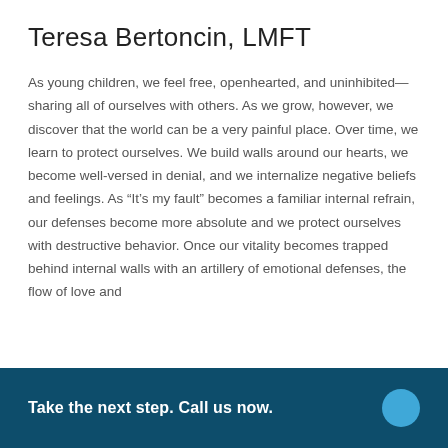Teresa Bertoncin, LMFT
As young children, we feel free, openhearted, and uninhibited—sharing all of ourselves with others. As we grow, however, we discover that the world can be a very painful place. Over time, we learn to protect ourselves. We build walls around our hearts, we become well-versed in denial, and we internalize negative beliefs and feelings. As “It’s my fault” becomes a familiar internal refrain, our defenses become more absolute and we protect ourselves with destructive behavior. Once our vitality becomes trapped behind internal walls with an artillery of emotional defenses, the flow of love and
Take the next step. Call us now.